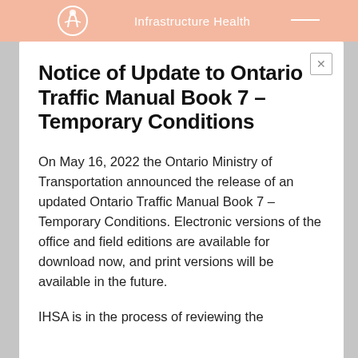Infrastructure Health
Notice of Update to Ontario Traffic Manual Book 7 – Temporary Conditions
On May 16, 2022 the Ontario Ministry of Transportation announced the release of an updated Ontario Traffic Manual Book 7 – Temporary Conditions. Electronic versions of the office and field editions are available for download now, and print versions will be available in the future.
IHSA is in the process of reviewing the